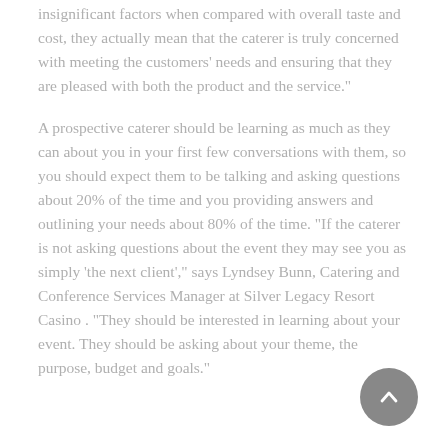insignificant factors when compared with overall taste and cost, they actually mean that the caterer is truly concerned with meeting the customers' needs and ensuring that they are pleased with both the product and the service.
A prospective caterer should be learning as much as they can about you in your first few conversations with them, so you should expect them to be talking and asking questions about 20% of the time and you providing answers and outlining your needs about 80% of the time. "If the caterer is not asking questions about the event they may see you as simply 'the next client'," says Lyndsey Bunn, Catering and Conference Services Manager at Silver Legacy Resort Casino . "They should be interested in learning about your event. They should be asking about your theme, the purpose, budget and goals."